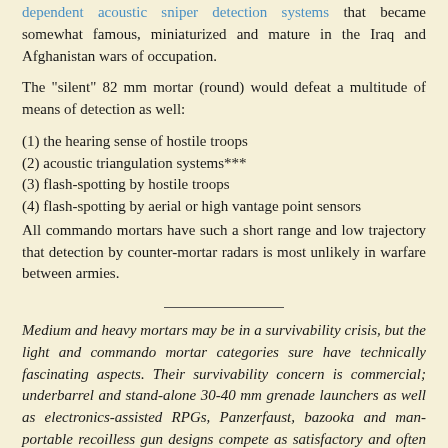dependent acoustic sniper detection systems that became somewhat famous, miniaturized and mature in the Iraq and Afghanistan wars of occupation.
The "silent" 82 mm mortar (round) would defeat a multitude of means of detection as well:
(1) the hearing sense of hostile troops
(2) acoustic triangulation systems***
(3) flash-spotting by hostile troops
(4) flash-spotting by aerial or high vantage point sensors
All commando mortars have such a short range and low trajectory that detection by counter-mortar radars is most unlikely in warfare between armies.
Medium and heavy mortars may be in a survivability crisis, but the light and commando mortar categories sure have technically fascinating aspects. Their survivability concern is commercial; underbarrel and stand-alone 30-40 mm grenade launchers as well as electronics-assisted RPGs, Panzerfaust, bazooka and man-portable recoilless gun designs compete as satisfactory and often even superior substitutes. The "Armbrust" Panzerfaust even uses